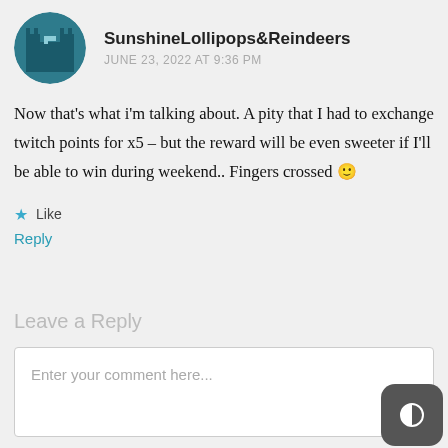[Figure (illustration): Circular avatar/profile image showing a stylized castle or building icon in teal/dark teal colors]
SunshineLollipops&Reindeers
JUNE 23, 2022 AT 9:36 PM
Now that's what i'm talking about. A pity that I had to exchange twitch points for x5 – but the reward will be even sweeter if I'll be able to win during weekend.. Fingers crossed 🙂
★ Like
Reply
Leave a Reply
Enter your comment here...